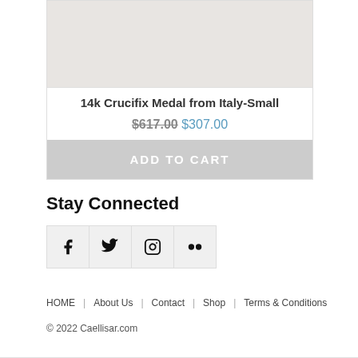[Figure (photo): Product image placeholder – light grey/beige background with faint texture, top portion of a product card for a 14k Crucifix Medal]
14k Crucifix Medal from Italy-Small
$617.00 $307.00
ADD TO CART
Stay Connected
[Figure (infographic): Row of four social media icon buttons: Facebook, Twitter, Instagram, Flickr]
HOME   About Us   Contact   Shop   Terms & Conditions
© 2022 Caellisar.com